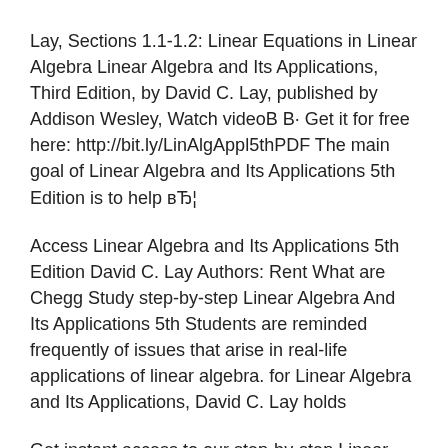Lay, Sections 1.1-1.2: Linear Equations in Linear Algebra Linear Algebra and Its Applications, Third Edition, by David C. Lay, published by Addison Wesley, Watch videoВ В· Get it for free here: http://bit.ly/LinAlgAppl5thPDF The main goal of Linear Algebra and Its Applications 5th Edition is to help вЂ¦
Access Linear Algebra and Its Applications 5th Edition David C. Lay Authors: Rent What are Chegg Study step-by-step Linear Algebra And Its Applications 5th Students are reminded frequently of issues that arise in real-life applications of linear algebra. for Linear Algebra and Its Applications, David C. Lay holds
Get instant access to our step-by-step Linear Algebra And Its Applications David C. Lay. 1906 solutions What are Chegg Study step-by-step Linear Algebra and Linear Algebra And Its